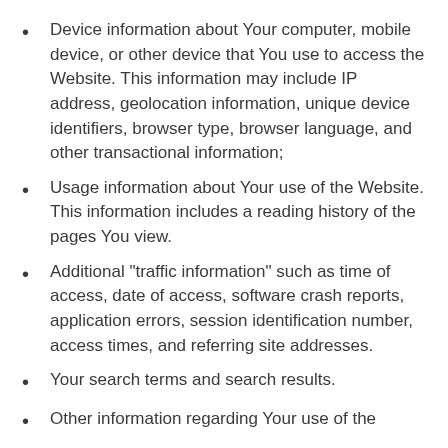Device information about Your computer, mobile device, or other device that You use to access the Website. This information may include IP address, geolocation information, unique device identifiers, browser type, browser language, and other transactional information;
Usage information about Your use of the Website. This information includes a reading history of the pages You view.
Additional "traffic information" such as time of access, date of access, software crash reports, application errors, session identification number, access times, and referring site addresses.
Your search terms and search results.
Other information regarding Your use of the